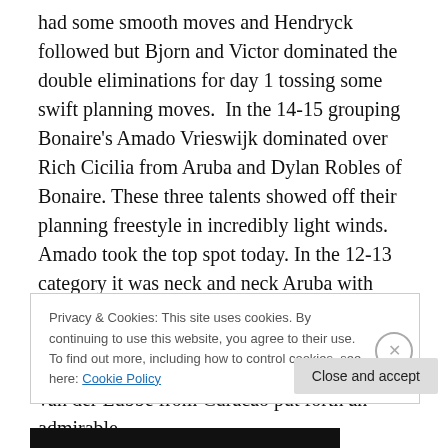had some smooth moves and Hendryck followed but Bjorn and Victor dominated the double eliminations for day 1 tossing some swift planning moves.  In the 14-15 grouping Bonaire's Amado Vrieswijk dominated over Rich Cicilia from Aruba and Dylan Robles of Bonaire. These three talents showed off their planning freestyle in incredibly light winds. Amado took the top spot today. In the 12-13 category it was neck and neck Aruba with Nick van de Erenbeemt vs. Mathias Ver Ploeg. Mathias has been training but it was Nick who took over to place first today. Kaj van der Lubbe from Curacao put forth an admirable
Privacy & Cookies: This site uses cookies. By continuing to use this website, you agree to their use.
To find out more, including how to control cookies, see here: Cookie Policy